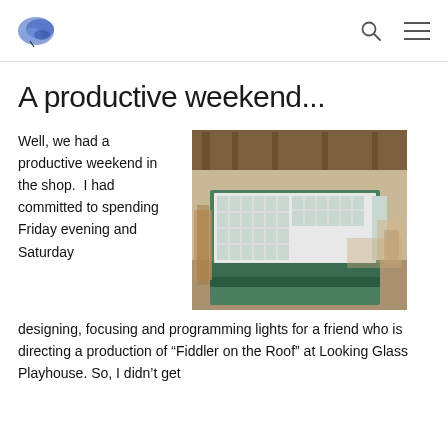[logo] [search icon] [menu icon]
A productive weekend...
Well, we had a productive weekend in the shop.  I had committed to spending Friday evening and Saturday designing, focusing and programming lights for a friend who is directing a production of “Fiddler on the Roof” at Looking Glass Playhouse. So, I didn’t get
[Figure (photo): A green wooden stage set piece with large white-framed windows, constructed inside a workshop/barn with wood scraps and tools visible in the background.]